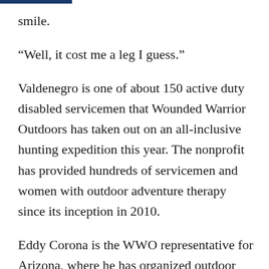smile.
“Well, it cost me a leg I guess.”
Valdenegro is one of about 150 active duty disabled servicemen that Wounded Warrior Outdoors has taken out on an all-inclusive hunting expedition this year. The nonprofit has provided hundreds of servicemen and women with outdoor adventure therapy since its inception in 2010.
Eddy Corona is the WWO representative for Arizona, where he has organized outdoor trips for troops since 2014. He said he loves to see the look on a serviceman’s face when he tags his first elk. For him, it’s “like scoring a touchdown.”
“There are bigger challenges in the outdoors because you